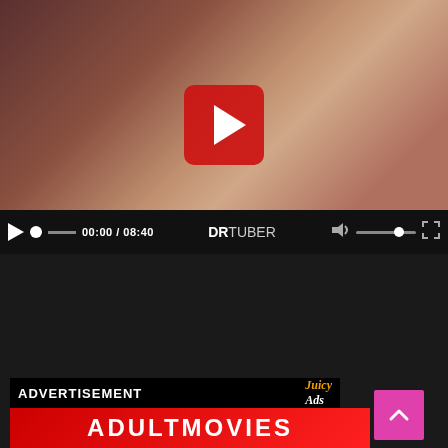[Figure (screenshot): Video player thumbnail showing two people on a bed with a red play button overlay. Controls bar shows 00:00 / 08:40 and DRTUBER branding.]
[Figure (screenshot): Social sharing buttons row: Twitter, Facebook, WhatsApp, Telegram, Reddit, LINE, XING, VK, Tumblr, WeChat, plus link/email/more buttons.]
ADVERTISEMENT
[Figure (screenshot): Advertisement banner with JuicyAds logo and red background showing ADULTMOVIES text.]